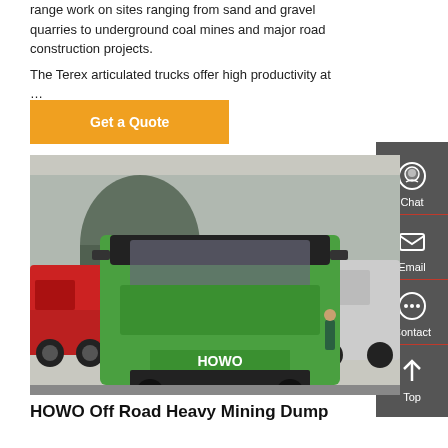range work on sites ranging from sand and gravel quarries to underground coal mines and major road construction projects. The Terex articulated trucks offer high productivity at …
Get a Quote
[Figure (photo): Front view of a green HOWO heavy mining dump truck parked in a yard with other trucks including a red truck on the left and white trucks on the right. Industrial building visible in background.]
HOWO Off Road Heavy Mining Dump